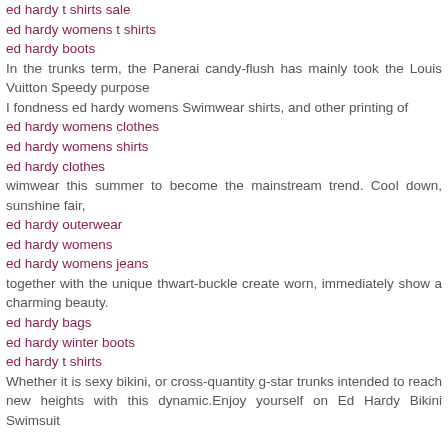ed hardy t shirts sale
ed hardy womens t shirts
ed hardy boots
In the trunks term, the Panerai candy-flush has mainly took the Louis Vuitton Speedy purpose
I fondness ed hardy womens Swimwear shirts, and other printing of
ed hardy womens clothes
ed hardy womens shirts
ed hardy clothes
wimwear this summer to become the mainstream trend. Cool down, sunshine fair,
ed hardy outerwear
ed hardy womens
ed hardy womens jeans
together with the unique thwart-buckle create worn, immediately show a charming beauty.
ed hardy bags
ed hardy winter boots
ed hardy t shirts
Whether it is sexy bikini, or cross-quantity g-star trunks intended to reach new heights with this dynamic.Enjoy yourself on Ed Hardy Bikini Swimsuit